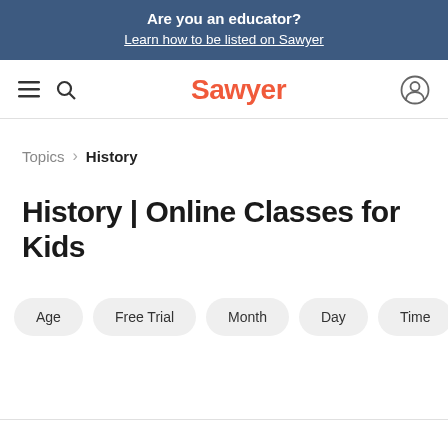Are you an educator? Learn how to be listed on Sawyer
[Figure (screenshot): Sawyer website navigation bar with hamburger menu, search icon, Sawyer logo in red/orange, and user account icon]
Topics > History
History | Online Classes for Kids
Age  Free Trial  Month  Day  Time  Sort By: